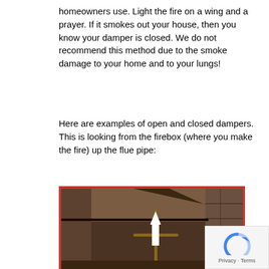homeowners use. Light the fire on a wing and a prayer. If it smokes out your house, then you know your damper is closed. We do not recommend this method due to the smoke damage to your home and to your lungs!
Here are examples of open and closed dampers.  This is looking from the firebox (where you make the fire) up the flue pipe:
[Figure (photo): Photo of a fireplace damper viewed from the firebox looking up the flue pipe. Shows brick interior with a metal damper handle/mechanism and a white upward-pointing arrow indicating the direction of the flue.]